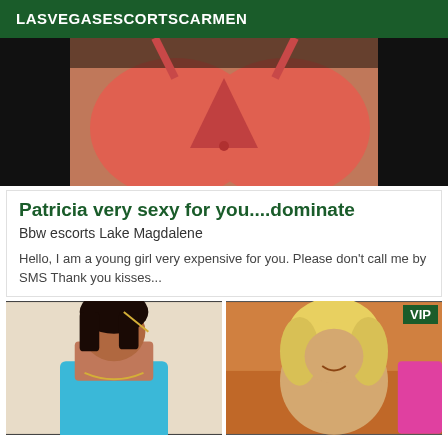LASVEGASESCORTSCARMEN
[Figure (photo): Close-up photo of a woman wearing a red/salmon colored bra, with dark hair, against a dark background.]
Patricia very sexy for you....dominate
Bbw escorts Lake Magdalene
Hello, I am a young girl very expensive for you. Please don't call me by SMS Thank you kisses...
[Figure (photo): Photo of a curvy woman with dark hair wearing a teal/turquoise dress, with a necklace.]
[Figure (photo): Photo of a blonde curly-haired woman smiling, with tattoos visible, in a colorful background. VIP badge shown.]